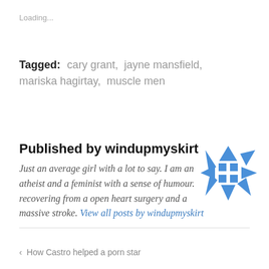Loading...
Tagged: cary grant, jayne mansfield, mariska hagirtay, muscle men
Published by windupmyskirt
Just an average girl with a lot to say. I am an atheist and a feminist with a sense of humour. recovering from a open heart surgery and a massive stroke. View all posts by windupmyskirt
[Figure (logo): Blue geometric pinwheel/star logo icon with squares in the center]
< How Castro helped a porn star